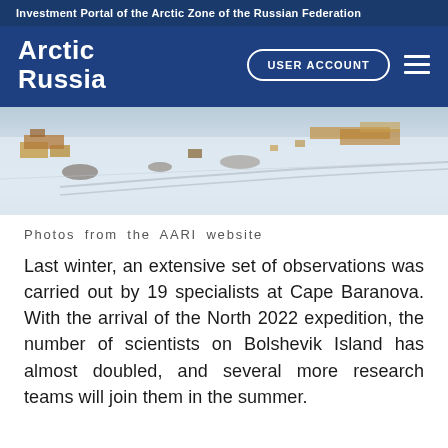Investment Portal of the Arctic Zone of the Russian Federation
Arctic Russia
[Figure (photo): Aerial photograph of Cape Baranova, Bolshevik Island, showing snow-covered terrain with research station buildings, equipment, and tracked vehicle trails in winter conditions.]
Photos from the AARI website
Last winter, an extensive set of observations was carried out by 19 specialists at Cape Baranova. With the arrival of the North 2022 expedition, the number of scientists on Bolshevik Island has almost doubled, and several more research teams will join them in the summer.